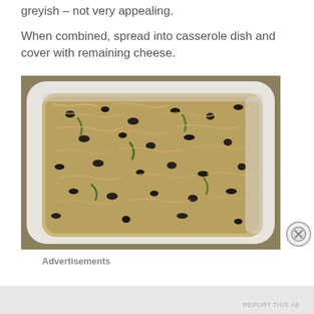greyish – not very appealing.
When combined, spread into casserole dish and cover with remaining cheese.
[Figure (photo): A white casserole dish filled with a mixture of shredded chicken, black beans, and green peppers, viewed from above at an angle.]
Advertisements